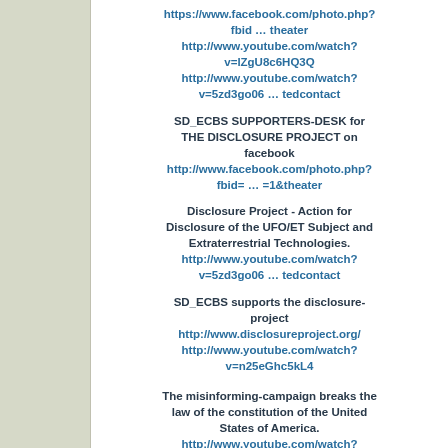https://www.facebook.com/photo.php?fbid … theater
http://www.youtube.com/watch?v=lZgU8c6HQ3Q
http://www.youtube.com/watch?v=5zd3go06 … tedcontact
SD_ECBS SUPPORTERS-DESK for THE DISCLOSURE PROJECT on facebook
http://www.facebook.com/photo.php?fbid= … =1&theater
Disclosure Project - Action for Disclosure of the UFO/ET Subject and Extraterrestrial Technologies.
http://www.youtube.com/watch?v=5zd3go06 … tedcontact
SD_ECBS supports the disclosure-project
http://www.disclosureproject.org/
http://www.youtube.com/watch?v=n25eGhc5kL4
The misinforming-campaign breaks the law of the constitution of the United States of America.
http://www.youtube.com/watch?v=ptX9aS8rjEs